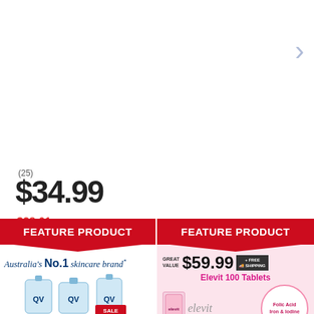[Figure (other): Navigation arrow pointing right, light blue/grey color]
(25)
$34.99
$28.01 Off
[Figure (other): Green Buy Now button]
[Figure (other): FEATURE PRODUCT red banner - left panel with QV Australia's No.1 skincare brand product image]
[Figure (other): FEATURE PRODUCT red banner - right panel with Elevit 100 Tablets, Great Value $59.99 + Free Shipping, Folic Acid Iron & Iodine]